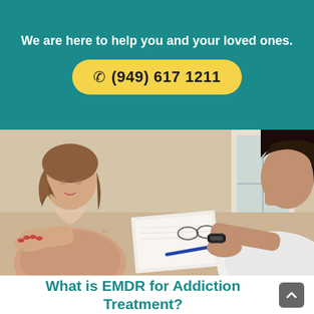We are here to help you and your loved ones.
☎ (949) 617 1211
[Figure (photo): Two women sitting across from each other at a table with a notepad, glasses and pens, appearing to be in a counseling or therapy session.]
What is EMDR for Addiction Treatment?